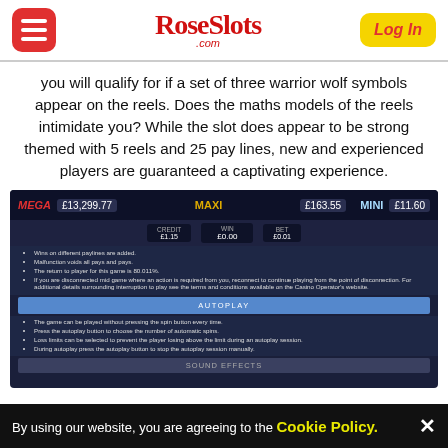RoseSlots.com | Log In
you will qualify for if a set of three warrior wolf symbols appear on the reels. Does the maths models of the reels intimidate you? While the slot does appear to be strong themed with 5 reels and 25 pay lines, new and experienced players are guaranteed a captivating experience.
[Figure (screenshot): Screenshot of a slot game interface showing MEGA £13,299.77, MAXI £163.55, MINI £11.60 jackpots, game info panel with rules about wins, malfunction, return to player 80.011%, disconnection policy, AUTOPLAY section with autoplay instructions, and SOUND EFFECTS button at bottom.]
By using our website, you are agreeing to the Cookie Policy.